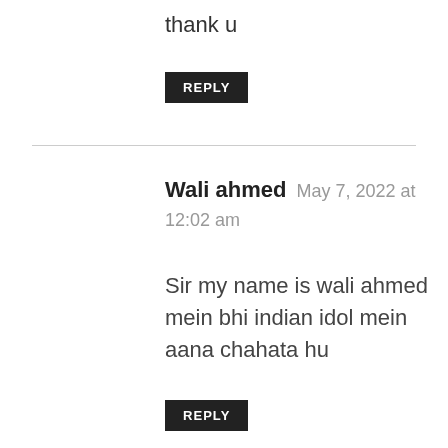thank u
REPLY
Wali ahmed   May 7, 2022 at 12:02 am
Sir my name is wali ahmed mein bhi indian idol mein aana chahata hu
REPLY